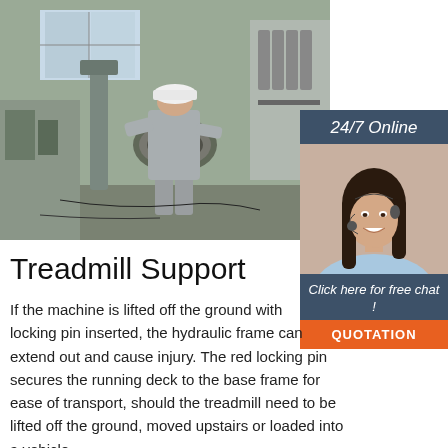[Figure (photo): Factory worker in gray uniform and hard hat operating industrial machinery, with heavy equipment and metal components visible in a large industrial facility]
[Figure (photo): Customer service representative — woman with headset smiling, with '24/7 Online' header above and 'Click here for free chat!' and orange QUOTATION button below]
Treadmill Support
If the machine is lifted off the ground with locking pin inserted, the hydraulic frame can extend out and cause injury. The red locking pin secures the running deck to the base frame for ease of transport, should the treadmill need to be lifted off the ground, moved upstairs or loaded into a vehicle.